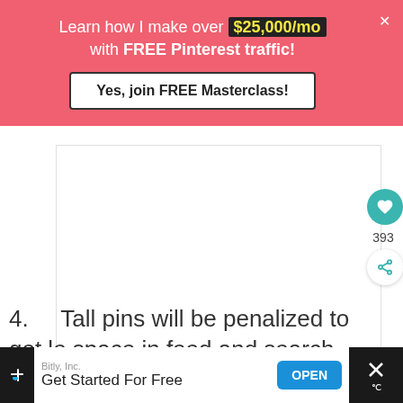[Figure (screenshot): Pink promotional banner: 'Learn how I make over $25,000/mo with FREE Pinterest traffic!' with a 'Yes, join FREE Masterclass!' button and a close X button]
[Figure (screenshot): White content area (blank image placeholder) with a teal heart icon button showing 393, and a share icon button]
4.    Tall pins will be penalized to get le space in feed and search results
[Figure (screenshot): Bottom ad bar: Bitly, Inc. - Get Started For Free - OPEN button, with close icons on sides]